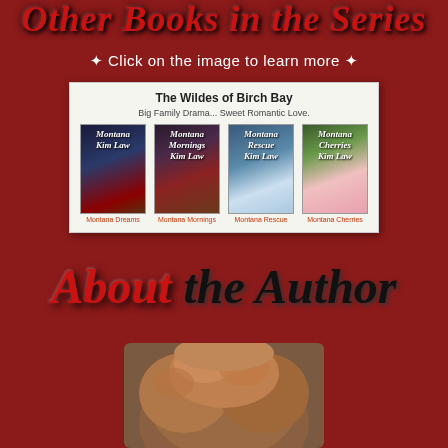Other Books in the Series
✦ Click on the image to learn more ✦
[Figure (illustration): A white panel showing 'The Wildes of Birch Bay' book series with subtitle 'Big Family Drama... Sweet Romantic Love.' and four book covers: Montana Dreams, Montana Mornings, Montana Rescue, Montana Cherries]
About the Author
[Figure (photo): Top of author's head showing hair, bottom portion cropped]